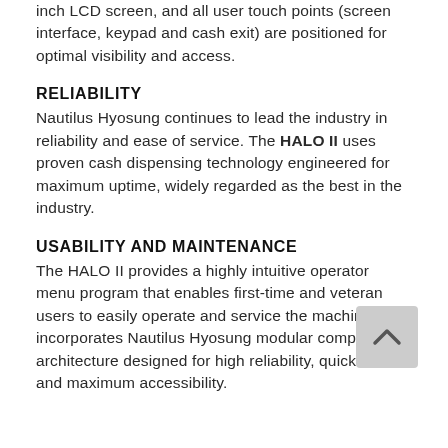inch LCD screen, and all user touch points (screen interface, keypad and cash exit) are positioned for optimal visibility and access.
RELIABILITY
Nautilus Hyosung continues to lead the industry in reliability and ease of service. The HALO II uses proven cash dispensing technology engineered for maximum uptime, widely regarded as the best in the industry.
USABILITY AND MAINTENANCE
The HALO II provides a highly intuitive operator menu program that enables first-time and veteran users to easily operate and service the machine. It incorporates Nautilus Hyosung modular component architecture designed for high reliability, quick service and maximum accessibility.